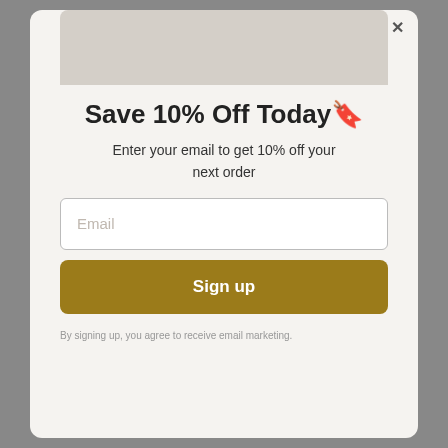[Figure (screenshot): Modal popup with decorative background image area at top]
Save 10% Off Today🔖
Enter your email to get 10% off your next order
Email (input placeholder)
Sign up
By signing up, you agree to receive email marketing.